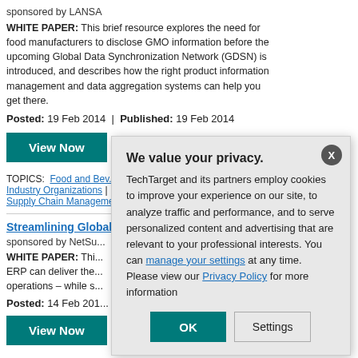sponsored by LANSA
WHITE PAPER: This brief resource explores the need for food manufacturers to disclose GMO information before the upcoming Global Data Synchronization Network (GDSN) is introduced, and describes how the right product information management and data aggregation systems can help you get there.
Posted: 19 Feb 2014 | Published: 19 Feb 2014
View Now
TOPICS: Food and Beverage | Industry Organizations | Supply Chain Management
Streamlining Global C...
sponsored by NetSu...
WHITE PAPER: Thi... ERP can deliver the... operations – while s...
Posted: 14 Feb 201...
View Now
[Figure (screenshot): Privacy consent modal dialog overlay. Title: 'We value your privacy.' Body text describes cookie usage by TechTarget and partners. Contains links to 'manage your settings' and 'Privacy Policy'. Two buttons: OK (teal) and Settings (gray outlined). Close button X at top right.]